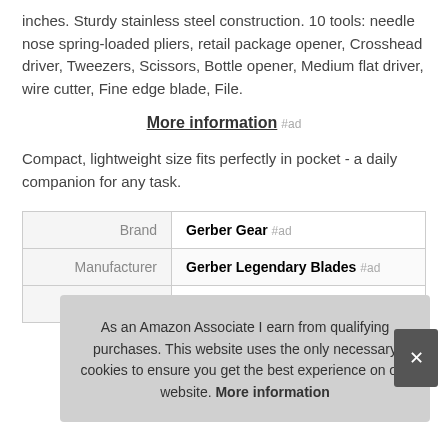inches. Sturdy stainless steel construction. 10 tools: needle nose spring-loaded pliers, retail package opener, Crosshead driver, Tweezers, Scissors, Bottle opener, Medium flat driver, wire cutter, Fine edge blade, File.
More information #ad
Compact, lightweight size fits perfectly in pocket - a daily companion for any task.
| Brand | Gerber Gear #ad |
| Manufacturer | Gerber Legendary Blades #ad |
| Width | 4 Inches |
As an Amazon Associate I earn from qualifying purchases. This website uses the only necessary cookies to ensure you get the best experience on our website. More information